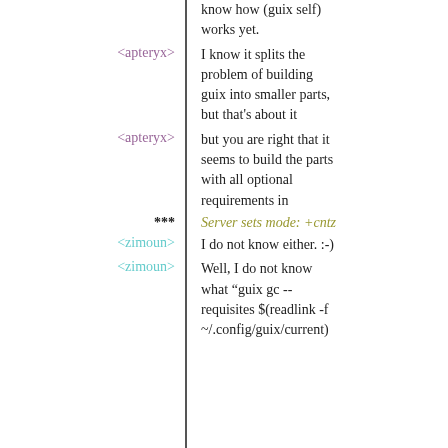know how (guix self) works yet.
<apteryx>  I know it splits the problem of building guix into smaller parts, but that's about it
<apteryx>  but you are right that it seems to build the parts with all optional requirements in
***  Server sets mode: +cntz
<zimoun>  I do not know either. :-)
<zimoun>  Well, I do not know what "guix gc -- requisites $(readlink -f ~/.config/guix/current)